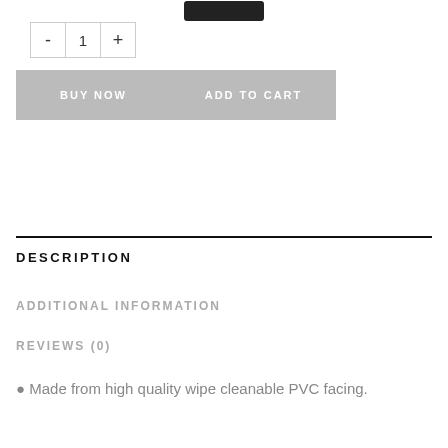[Figure (logo): Store logo partial view at top of page]
[Figure (other): Quantity selector with minus, 1, plus buttons]
[Figure (other): BUY NOW and ADD TO CART buttons side by side, grey background]
DESCRIPTION
ADDITIONAL INFORMATION
REVIEWS (0)
Made from high quality wipe cleanable PVC facing.